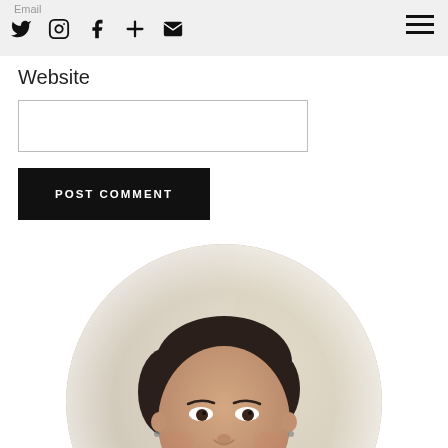Email
Twitter, Instagram, Facebook, Plus, Email, Menu
Website
POST COMMENT
[Figure (photo): Circular portrait photo of a smiling woman with short dark hair, wearing a yellow cardigan over a dark patterned top, photographed against a light background.]